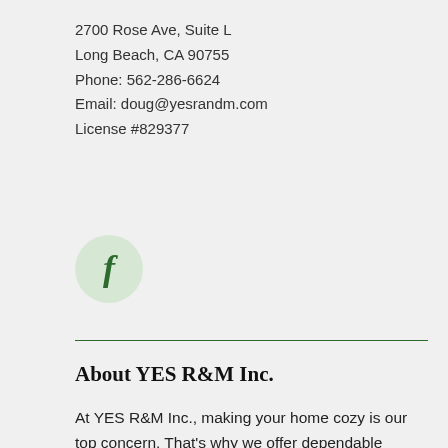2700 Rose Ave, Suite L
Long Beach, CA 90755
Phone: 562-286-6624
Email: doug@yesrandm.com
License #829377
[Figure (illustration): Facebook icon: a green-tinted circle with a bold italic lowercase 'f' in dark green]
About YES R&M Inc.
At YES R&M Inc., making your home cozy is our top concern. That's why we offer dependable HVAC units and quality work in Long Beach. Our techs are skilled in a complete selection of services, so you can feel